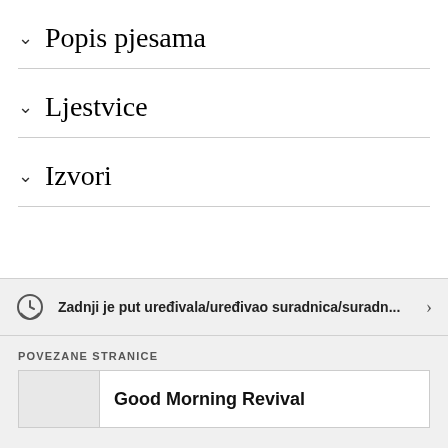Popis pjesama
Ljestvice
Izvori
Zadnji je put uređivala/uređivao suradnica/suradn...
POVEZANE STRANICE
Good Morning Revival